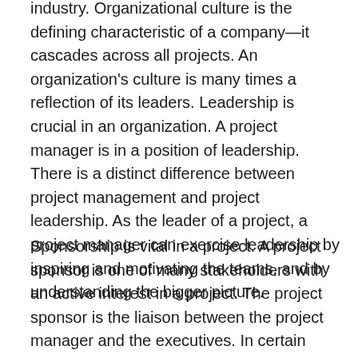industry. Organizational culture is the defining characteristic of a company—it cascades across all projects. An organization's culture is many times a reflection of its leaders. Leadership is crucial in an organization. A project manager is in a position of leadership. There is a distinct difference between project management and project leadership. As the leader of a project, a project manager can exercise leadership by inspiring and motivating the teams, and by understanding the bigger picture.
Sponsorship is vital in a project. A project sponsor is one of many stakeholders with an active interest in a project. The project sponsor is the liaison between the project manager and the executives. In certain cases when it becomes necessary to acquire more resources or change direction, a project sponsor would most likely be